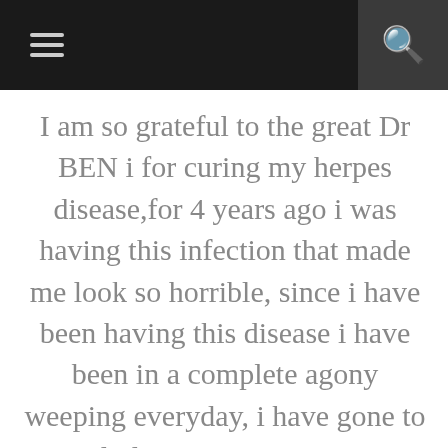[navigation bar with menu and search icons]
I am so grateful to the great Dr BEN i for curing my herpes disease,for 4 years ago i was having this infection that made me look so horrible, since i have been having this disease i have been in a complete agony weeping everyday, i have gone to several places trying to get a cure but nothing was change, i had to search for solution in the internet, luckily i came across this testimony of